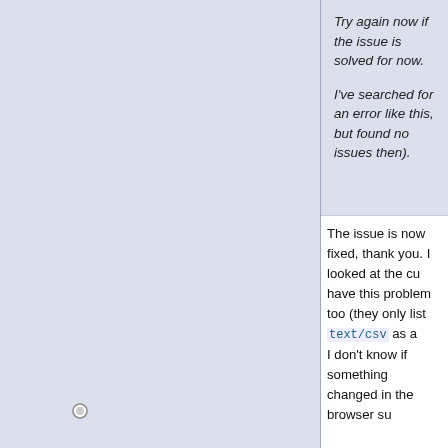Try again now if the issue is solved for now.
I've searched for an error like this, but found no issues then).
The issue is now fixed, thank you. I looked at the cu have this problem too (they only list text/csv as a I don't know if something changed in the browser su
2022-04-01, 07:11   #200
Happy5214
[Figure (illustration): Colorful avatar with blue, yellow, black, green, purple, and white geometric flag pattern]
"Alexander"
Nov 2008
The Alamo City

2×7×59 Posts
I'll preface this by saying that I haven't discussed this with anyone, but since you've already thought of the idea of referencing FactorDB numbers as a Prime-Wiki namespace, I'm wondering if you'd be open to the idea of using PW as a centralized database of ECM progress for general factorization efforts? They would be added as either remarks or a new field to long numbers, using the standard wiki process.